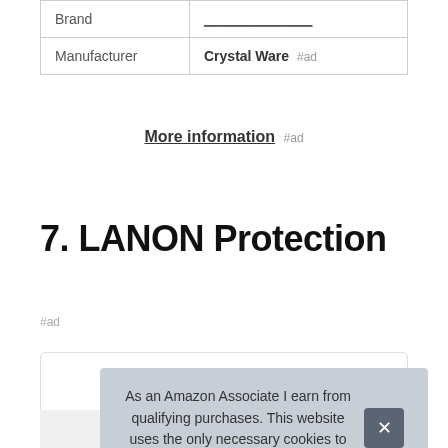| Brand |  |
| Manufacturer | Crystal Ware #ad |
More information #ad
7. LANON Protection
#ad
As an Amazon Associate I earn from qualifying purchases. This website uses the only necessary cookies to ensure you get the best experience on our website. More information